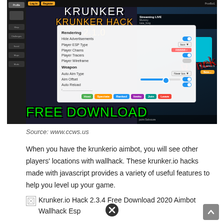[Figure (screenshot): Screenshot of Krunker Hack 2.1.0 game interface showing a hack panel with Rendering and Weapon options including toggles for Hide Advertisements, Player ESP Type, Player Chams, Player Tracers, Player Wireframe, Auto Aim Type, Aim Offset, Auto Reload. Also shows 'FREE DOWNLOAD' text in green and game scene with Triggerman character.]
Source: www.ccws.us
When you have the krunkerio aimbot, you will see other players' locations with wallhack. These krunker.io hacks made with javascript provides a variety of useful features to help you level up your game.
[Figure (screenshot): Broken image icon for Krunker.io Hack 2.3.4 Free Download 2020 Aimbot Wallhack Esp with a close button]